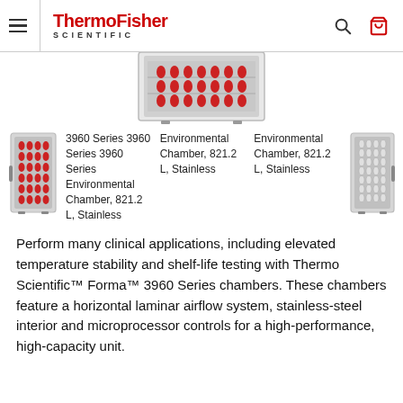ThermoFisher SCIENTIFIC
[Figure (photo): Top portion of a Thermo Scientific Forma 3960 Series Environmental Chamber, showing the interior with red-capped bottles on rotating shelves]
[Figure (photo): 3960 Series Environmental Chamber, 821.2 L, Stainless - product thumbnail left]
3960 Series 3960 Series 3960 Series Environmental Chamber, Environmental Chamber, Environmental Chamber, 821.2 L, 821.2 L, 821.2 L, Stainless Stainless Stainless
[Figure (photo): 3960 Series Environmental Chamber, 821.2 L, Stainless - product thumbnail right]
Perform many clinical applications, including elevated temperature stability and shelf-life testing with Thermo Scientific™ Forma™ 3960 Series chambers. These chambers feature a horizontal laminar airflow system, stainless-steel interior and microprocessor controls for a high-performance, high-capacity unit.